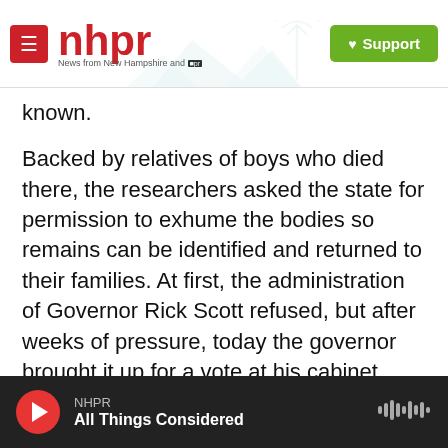NHPR — News from New Hampshire and NPR | Support
known.
Backed by relatives of boys who died there, the researchers asked the state for permission to exhume the bodies so remains can be identified and returned to their families. At first, the administration of Governor Rick Scott refused, but after weeks of pressure, today the governor brought it up for a vote at his cabinet meeting.
GOVERNOR RICK SCOTT: Any comments or objections? Hearing none, the motion carries.
(SOUNDBITE OF APPLAUSE)
NHPR — All Things Considered